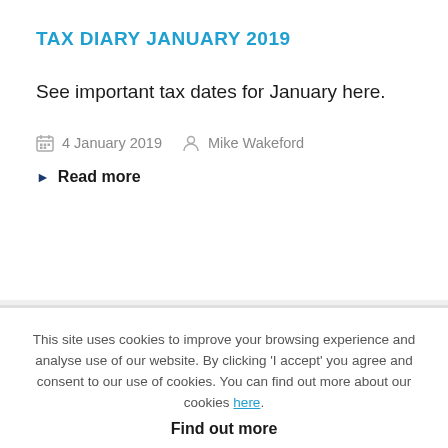TAX DIARY JANUARY 2019
See important tax dates for January here.
4 January 2019   Mike Wakeford
▶ Read more
This site uses cookies to improve your browsing experience and analyse use of our website. By clicking 'I accept' you agree and consent to our use of cookies. You can find out more about our cookies here.
Find out more
I ACCEPT